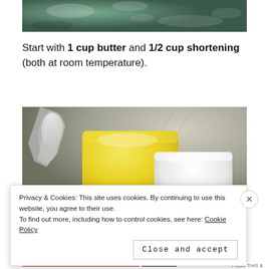[Figure (photo): Top partial photo showing a teal/green textured surface, appears to be a close-up of a mixing bowl or similar kitchen surface.]
Start with 1 cup butter and 1/2 cup shortening (both at room temperature).
[Figure (photo): Photo of butter (yellow block) and shortening (white block) in a metallic mixing bowl with a mixer attachment visible.]
Privacy & Cookies: This site uses cookies. By continuing to use this website, you agree to their use.
To find out more, including how to control cookies, see here: Cookie Policy
Close and accept